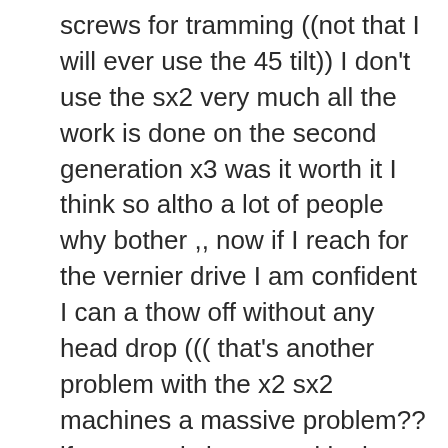screws for tramming ((not that I will ever use the 45 tilt)) I don’t use the sx2 very much all the work is done on the second generation x3 was it worth it I think so altho a lot of people why bother ,, now if I reach for the vernier drive I am confident I can a thow off without any head drop ((( that’s another problem with the x2 sx2 machines a massive problem?? if any one is interested in the gas strut set up I will see if I can get some pictures up some set ups are darn right ugly this set up you don’t notice its right along side the colum ,,, check out the dreaded head drop on this site,,,